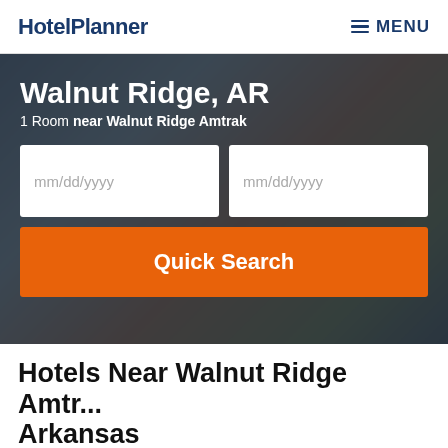HotelPlanner  MENU
Walnut Ridge, AR
1 Room near Walnut Ridge Amtrak
mm/dd/yyyy
mm/dd/yyyy
Quick Search
Hotels Near Walnut Ridge Amtr... Arkansas
Lodging/Accommodations close to Walnut Ridge Amtrak